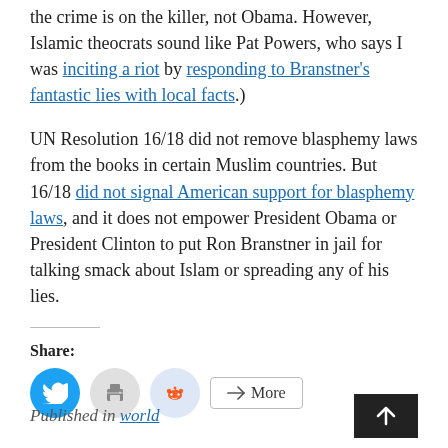the crime is on the killer, not Obama. However, Islamic theocrats sound like Pat Powers, who says I was inciting a riot by responding to Branstner's fantastic lies with local facts.)
UN Resolution 16/18 did not remove blasphemy laws from the books in certain Muslim countries. But 16/18 did not signal American support for blasphemy laws, and it does not empower President Obama or President Clinton to put Ron Branstner in jail for talking smack about Islam or spreading any of his lies.
Share:
[Figure (infographic): Social share buttons: Twitter (blue circle), Print (grey circle), Reddit (light blue circle), and a More button with share icon]
Published in world